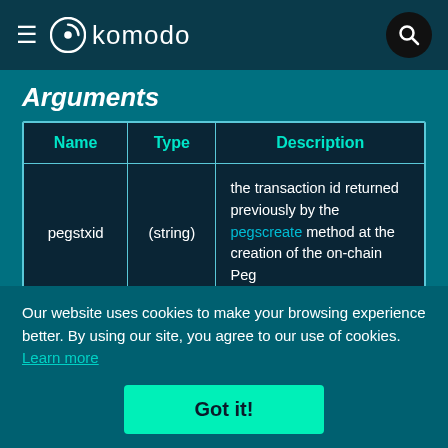komodo
Arguments
| Name | Type | Description |
| --- | --- | --- |
| pegstxid | (string) | the transaction id returned previously by the pegscreate method at the creation of the on-chain Peg |
Our website uses cookies to make your browsing experience better. By using our site, you agree to our use of cookies. Learn more
Got it!